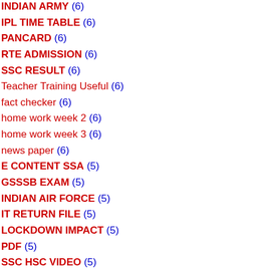INDIAN ARMY (6)
IPL TIME TABLE (6)
PANCARD (6)
RTE ADMISSION (6)
SSC RESULT (6)
Teacher Training Useful (6)
fact checker (6)
home work week 2 (6)
home work week 3 (6)
news paper (6)
E CONTENT SSA (5)
GSSSB EXAM (5)
INDIAN AIR FORCE (5)
IT RETURN FILE (5)
LOCKDOWN IMPACT (5)
PDF (5)
SSC HSC VIDEO (5)
VEDA (5)
WHATSAPP IMOJI (5)